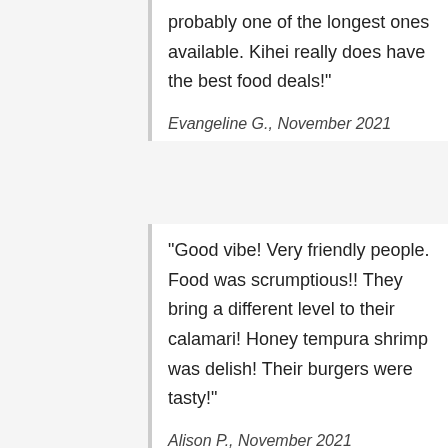probably one of the longest ones available. Kihei really does have the best food deals!"
Evangeline G., November 2021
"Good vibe! Very friendly people. Food was scrumptious!! They bring a different level to their calamari! Honey tempura shrimp was delish! Their burgers were tasty!"
Alison P., November 2021